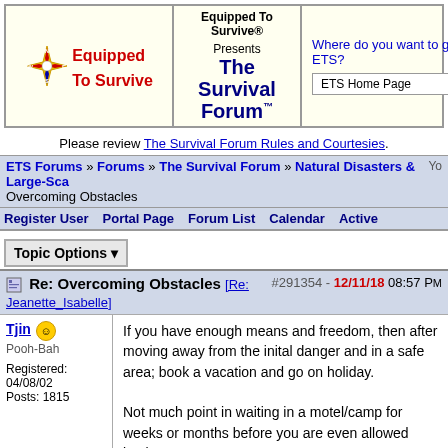[Figure (logo): Equipped To Survive logo with compass star icon and red bold text, plus center panel 'Equipped To Survive® Presents The Survival Forum™' and right panel navigation dropdown]
Please review The Survival Forum Rules and Courtesies.
ETS Forums » Forums » The Survival Forum » Natural Disasters & Large-Sca... Overcoming Obstacles
Register User   Portal Page   Forum List   Calendar   Active
Topic Options
Re: Overcoming Obstacles [Re: Jeanette_Isabelle]  #291354 - 12/11/18 08:57 PM
Tjin
Pooh-Bah
Registered: 04/08/02
Posts: 1815
If you have enough means and freedom, then after moving away from the inital danger and in a safe area; book a vacation and go on holiday.

Not much point in waiting in a motel/camp for weeks or months before you are even allowed back.
Top